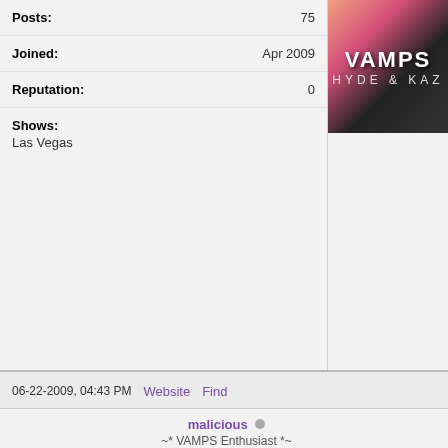Posts:	75
Joined:	Apr 2009
Reputation:	0
Shows:
Las Vegas
[Figure (illustration): VAMPS banner with decorative floral design, text reading VAMPS and HYDE & KAZ on dark background with pink/orange accents]
06-22-2009, 04:43 PM   Website   Find
malicious (offline)
~* VAMPS Enthusiast *~
[Figure (photo): Black and white photo of a young woman holding a plush stuffed animal toy]
Posts:	159
Joined:	Apr 2009
Reputation:	3
Shows:
LA, San Fran
RE: DONATIONS FOR POOR VEGAS LEADERS (deadl… JUNE 27!!!!!)
Yumeko Wrote: ➡ (06-22-2009, 04:2…
okay and then at the concert you would pass them…
How will you know I'm me? XD I won't have a t-shi…
well we are giving them to whoever want them
[Figure (photo): Blurred artistic photo of a woman with red hair, with glowing light effects and text overlay reading 'follow me to the stars *']